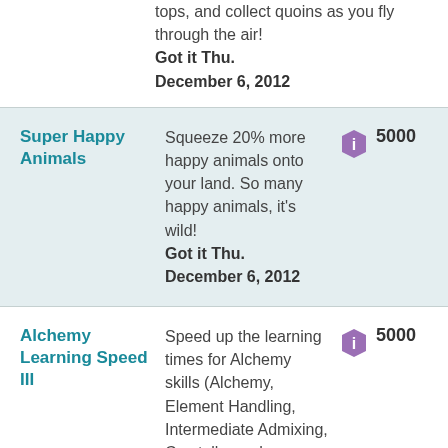tops, and collect quoins as you fly through the air! Got it Thu. December 6, 2012
Super Happy Animals | Squeeze 20% more happy animals onto your land. So many happy animals, it's wild! Got it Thu. December 6, 2012 | 5000
Alchemy Learning Speed III | Speed up the learning times for Alchemy skills (Alchemy, Element Handling, Intermediate Admixing, Crystallography, Distilling, | 5000